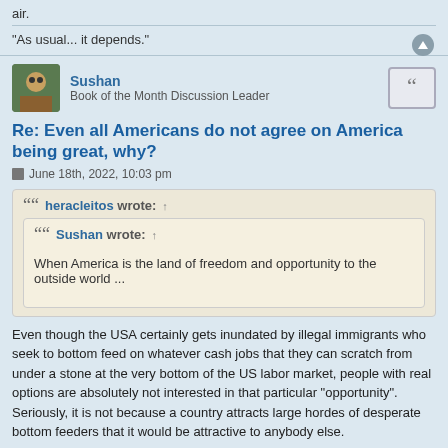air.
"As usual... it depends."
Sushan
Book of the Month Discussion Leader
Re: Even all Americans do not agree on America being great, why?
June 18th, 2022, 10:03 pm
heracleitos wrote: ↑
Sushan wrote: ↑
When America is the land of freedom and opportunity to the outside world ...
Even though the USA certainly gets inundated by illegal immigrants who seek to bottom feed on whatever cash jobs that they can scratch from under a stone at the very bottom of the US labor market, people with real options are absolutely not interested in that particular "opportunity". Seriously, it is not because a country attracts large hordes of desperate bottom feeders that it would be attractive to anybody else.